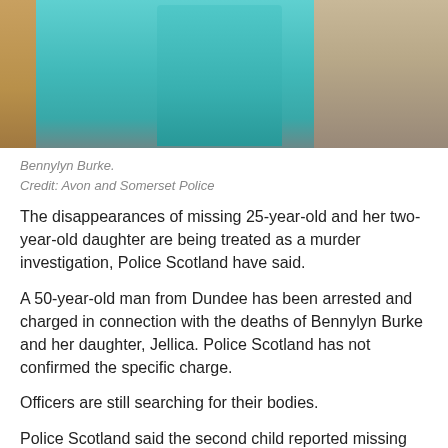[Figure (photo): Photo of Bennylyn Burke, a young woman wearing a teal/turquoise top with long dark hair, standing indoors.]
Bennylyn Burke.
Credit: Avon and Somerset Police
The disappearances of missing 25-year-old and her two-year-old daughter are being treated as a murder investigation, Police Scotland have said.
A 50-year-old man from Dundee has been arrested and charged in connection with the deaths of Bennylyn Burke and her daughter, Jellica. Police Scotland has not confirmed the specific charge.
Officers are still searching for their bodies.
Police Scotland said the second child reported missing has been traced and is being supported.